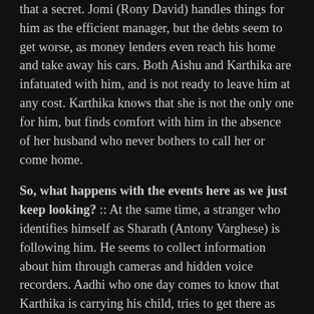that a secret. Jomi (Rony David) handles things for him as the efficient manager, but the debts seem to get worse, as money lenders even reach his home and take away his cars. Both Aishu and Karthika are infatuated with him, and is not ready to leave him at any cost. Karthika knows that she is not the only one for him, but finds comfort with him in the absence of her husband who never bothers to call her or come home.
So, what happens with the events here as we just keep looking? :: At the same time, a stranger who identifies himself as Sharath (Antony Varghese) is following him. He seems to collect information about him through cameras and hidden voice recorders. Aadhi who one day comes to know that Karthika is carrying his child, tries to get there as soon as possible, and finds a lady who calls herself Shaani (Nimisha Sajayan), and she offers him a lift. She asks him to come to her home and see her husband once, and adds that she is ready to give him the car so that he can go wherever he wants to. Finding this to be a comfortable option, he gets to her apartment, only to find